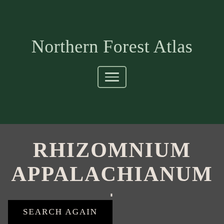Northern Forest Atlas
[Figure (other): Hamburger menu button icon with three horizontal lines inside a rounded rectangle border]
RHIZOMNIUM APPALACHIANUM +
SEARCH AGAIN